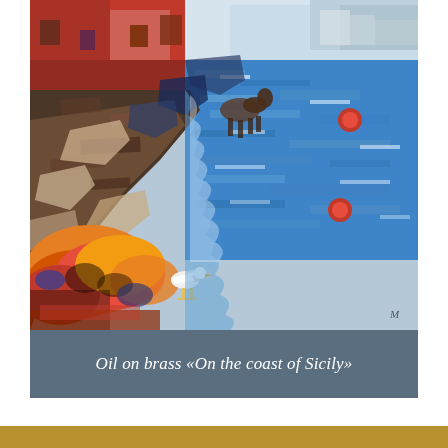[Figure (illustration): Oil painting depicting the coast of Sicily. An impressionist-style painting showing a rocky coastline with Mediterranean blue water on the right, colorful buildings in the upper left, a white seagull standing on the rocks in the lower left, orange and red foliage, red buoys floating in the water, and a horse figure visible in the upper middle area.]
Oil on brass «On the coast of Sicily»